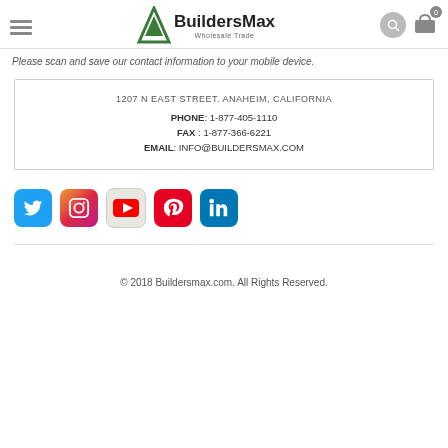BuildersMax Wholesale Trade
Please scan and save our contact information to your mobile device.
1207 N EAST STREET. ANAHEIM, CALIFORNIA
PHONE: 1-877-405-1110
FAX: 1-877-366-6221
EMAIL: INFO@BUILDERSMAX.COM
[Figure (logo): Social media icons: Twitter, Instagram, YouTube, Pinterest, LinkedIn]
© 2018 Buildersmax.com. All Rights Reserved.